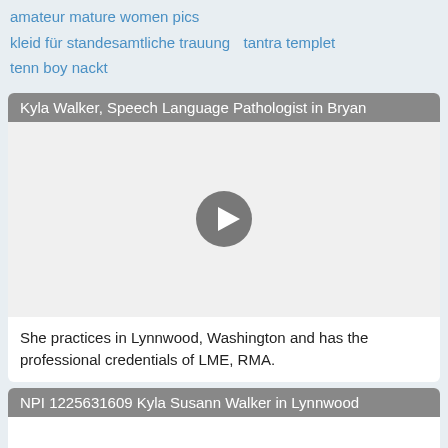amateur mature women pics
kleid für standesamtliche trauung   tantra templet
tenn boy nackt
Kyla Walker, Speech Language Pathologist in Bryan
[Figure (other): Video thumbnail with play button, white/light gray background]
She practices in Lynnwood, Washington and has the professional credentials of LME, RMA.
NPI 1225631609 Kyla Susann Walker in Lynnwood